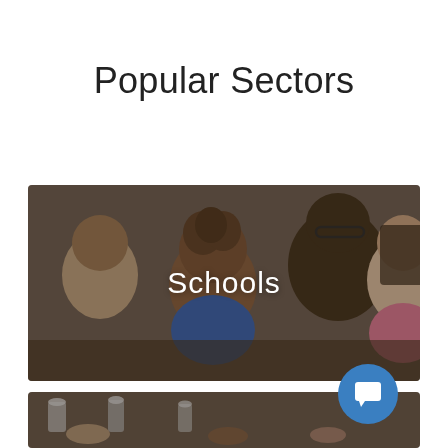Popular Sectors
[Figure (photo): Photo of a teacher and students in a classroom, overlaid with the text 'Schools']
[Figure (photo): Partial photo of people at a table with equipment, partially visible at bottom of page]